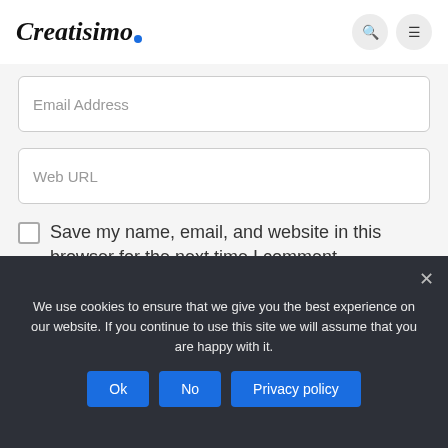Creatisimo
Email Address
Web URL
Save my name, email, and website in this browser for the next time I comment.
We use cookies to ensure that we give you the best experience on our website. If you continue to use this site we will assume that you are happy with it.
Ok
No
Privacy policy